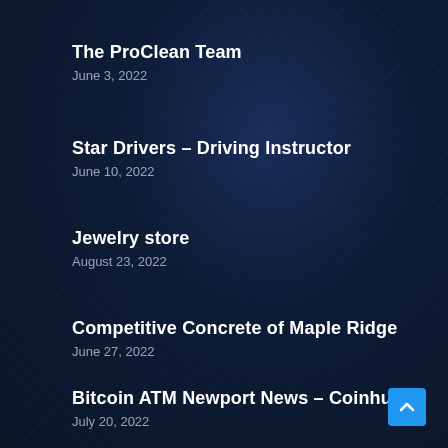The ProClean Team
June 3, 2022
Star Drivers – Driving Instructor
June 10, 2022
Jewelry store
August 23, 2022
Competitive Concrete of Maple Ridge
June 27, 2022
Bitcoin ATM Newport News – Coinhub
July 20, 2022